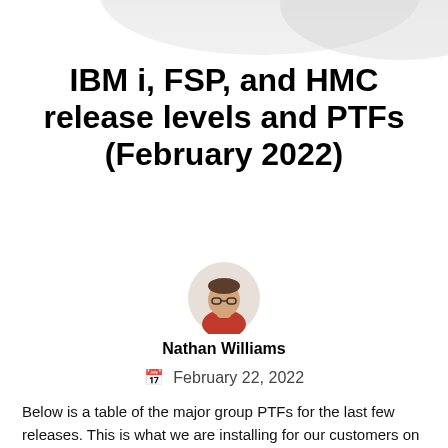[Figure (illustration): Decorative curved banner/header graphic in light gray at the top of the page]
IBM i, FSP, and HMC release levels and PTFs (February 2022)
[Figure (photo): Circular headshot photo of Nathan Williams, a man wearing glasses and a red shirt]
Nathan Williams
February 22, 2022
Below is a table of the major group PTFs for the last few releases. This is what we are installing for our customers on iTech Solutions Quarterly Maintenance program.